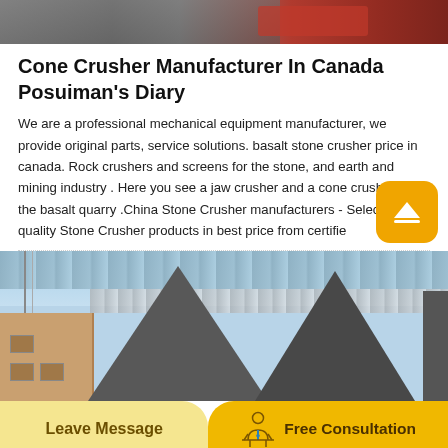[Figure (photo): Top portion of industrial/crusher machinery with orange and grey metal surfaces]
Cone Crusher Manufacturer In Canada Posuiman's Diary
We are a professional mechanical equipment manufacturer, we provide original parts, service solutions. basalt stone crusher price in canada. Rock crushers and screens for the stone, and earth and mining industry . Here you see a jaw crusher and a cone crusher in the basalt quarry .China Stone Crusher manufacturers - Select high quality Stone Crusher products in best price from certifie
[Figure (photo): Industrial building/plant with large dark trapezoid-shaped structures and metal framework against a light blue sky]
Leave Message
Free Consultation